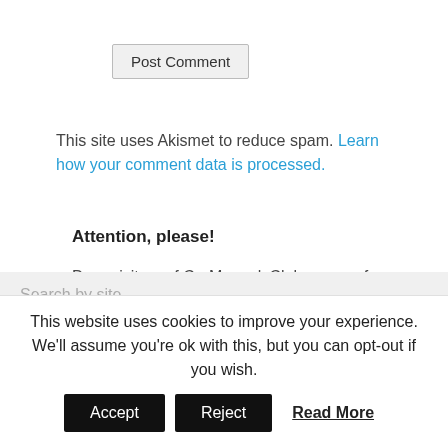Post Comment
This site uses Akismet to reduce spam. Learn how your comment data is processed.
Attention, please!
Dear visitors of CarManualsClub, some of the manuals are not available at the moment, but we will fix this moment as soon as possible.
Search by site
This website uses cookies to improve your experience. We'll assume you're ok with this, but you can opt-out if you wish. Accept Reject Read More